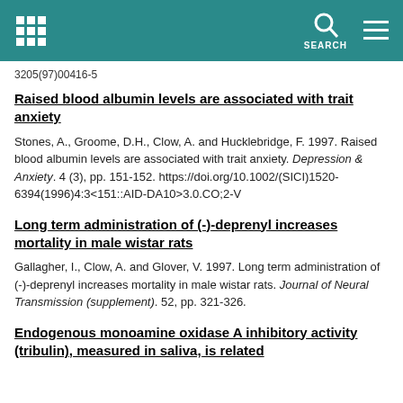SEARCH
3205(97)00416-5
Raised blood albumin levels are associated with trait anxiety
Stones, A., Groome, D.H., Clow, A. and Hucklebridge, F. 1997. Raised blood albumin levels are associated with trait anxiety. Depression & Anxiety. 4 (3), pp. 151-152. https://doi.org/10.1002/(SICI)1520-6394(1996)4:3<151::AID-DA10>3.0.CO;2-V
Long term administration of (-)-deprenyl increases mortality in male wistar rats
Gallagher, I., Clow, A. and Glover, V. 1997. Long term administration of (-)-deprenyl increases mortality in male wistar rats. Journal of Neural Transmission (supplement). 52, pp. 321-326.
Endogenous monoamine oxidase A inhibitory activity (tribulin), measured in saliva, is related